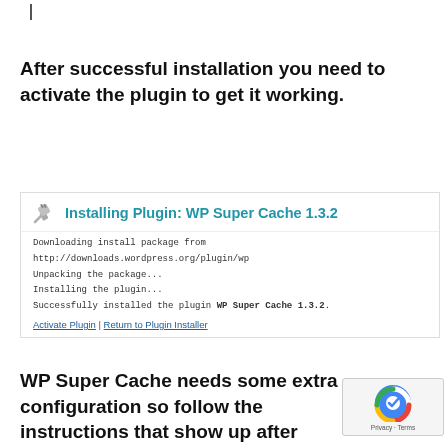After successful installation you need to activate the plugin to get it working.
[Figure (screenshot): WordPress plugin installation screen showing 'Installing Plugin: WP Super Cache 1.3.2' with download, unpack, install steps, success message, and Activate Plugin / Return to Plugin Installer links]
WP Super Cache needs some extra configuration so follow the instructions that show up after activation.